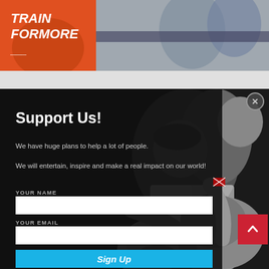[Figure (photo): Top banner photo showing people in athletic wear; orange shirt reads TRAIN FORMORE on the left, grey athletic wear on the right]
[Figure (photo): Black and white photo of BJJ/martial arts fighters grappling, shown in background of modal popup]
Support Us!
We have huge plans to help a lot of people.
We will entertain, inspire and make a real impact on our world!
YOUR NAME
YOUR EMAIL
Sign Up